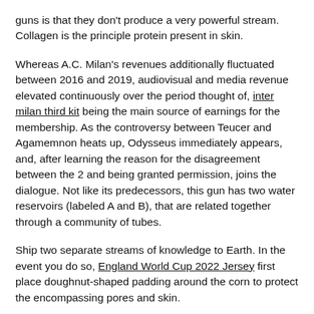guns is that they don't produce a very powerful stream. Collagen is the principle protein present in skin.
Whereas A.C. Milan's revenues additionally fluctuated between 2016 and 2019, audiovisual and media revenue elevated continuously over the period thought of, inter milan third kit being the main source of earnings for the membership. As the controversy between Teucer and Agamemnon heats up, Odysseus immediately appears, and, after learning the reason for the disagreement between the 2 and being granted permission, joins the dialogue. Not like its predecessors, this gun has two water reservoirs (labeled A and B), that are related together through a community of tubes.
Ship two separate streams of knowledge to Earth. In the event you do so, England World Cup 2022 Jersey first place doughnut-shaped padding around the corn to protect the encompassing pores and skin.